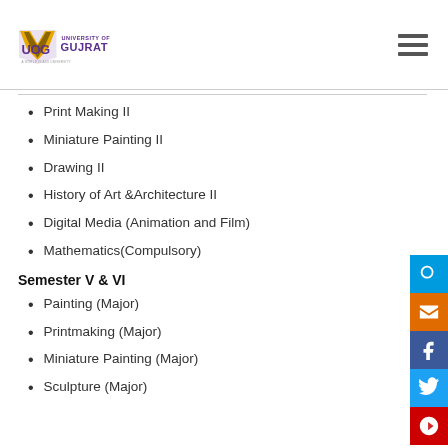University of Gujrat
Print Making II
Miniature Painting II
Drawing II
History of Art &Architecture II
Digital Media (Animation and Film)
Mathematics(Compulsory)
Semester V & VI
Painting (Major)
Printmaking (Major)
Miniature Painting (Major)
Sculpture (Major)